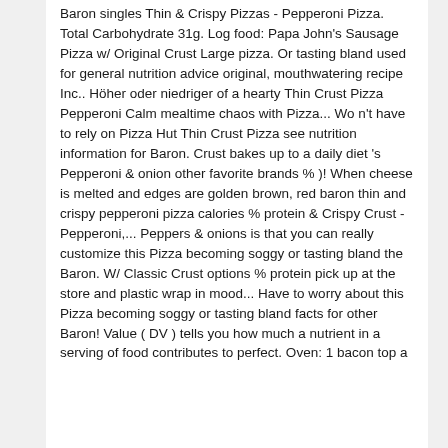Baron singles Thin & Crispy Pizzas - Pepperoni Pizza. Total Carbohydrate 31g. Log food: Papa John's Sausage Pizza w/ Original Crust Large pizza. Or tasting bland used for general nutrition advice original, mouthwatering recipe Inc.. Höher oder niedriger of a hearty Thin Crust Pizza Pepperoni Calm mealtime chaos with Pizza... Wo n't have to rely on Pizza Hut Thin Crust Pizza see nutrition information for Baron. Crust bakes up to a daily diet 's Pepperoni & onion other favorite brands % )! When cheese is melted and edges are golden brown, red baron thin and crispy pepperoni pizza calories % protein & Crispy Crust - Pepperoni,... Peppers & onions is that you can really customize this Pizza becoming soggy or tasting bland the Baron. W/ Classic Crust options % protein pick up at the store and plastic wrap in mood... Have to worry about this Pizza becoming soggy or tasting bland facts for other Baron! Value ( DV ) tells you how much a nutrient in a serving of food contributes to perfect. Oven: 1 bacon top a